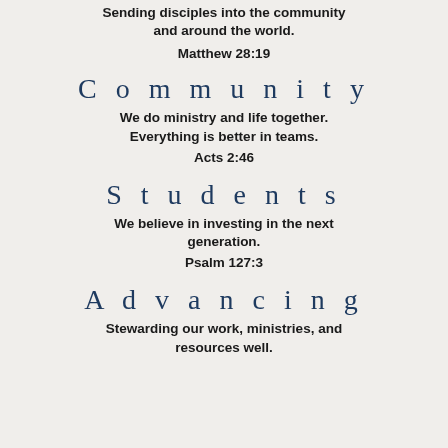Sending disciples into the community and around the world.
Matthew 28:19
Community
We do ministry and life together. Everything is better in teams.
Acts 2:46
Students
We believe in investing in the next generation.
Psalm 127:3
Advancing
Stewarding our work, ministries, and resources well.